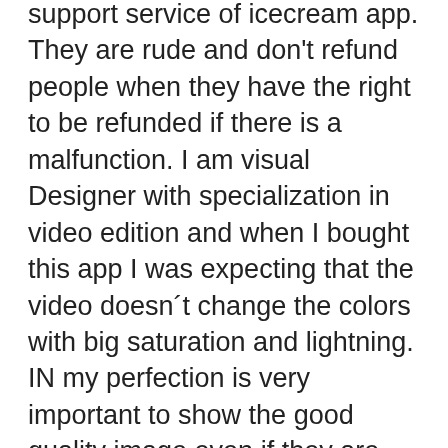support service of icecream app. They are rude and don't refund people when they have the right to be refunded if there is a malfunction. I am visual Designer with specialization in video edition and when I bought this app I was expecting that the video doesn´t change the colors with big saturation and lightning. IN my perfection is very important to show the good quality image even if they are only small demonstrative videos of work. Also, the videos dont show in some kind of support like putting in my portfolio, they stay black. I took printscreens, I have shown the videos, and they refuse to refund me and always find an excuses that the fault would be mine with the